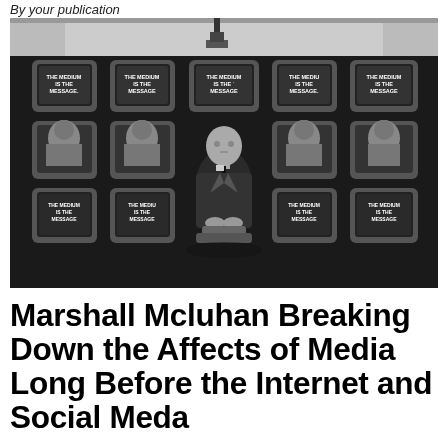By your publication
[Figure (photo): Black and white photograph of Marshall McLuhan seated in front of a wall of television monitors, all displaying the text 'THE MEDIUM IS THE MESSAGE']
Marshall Mcluhan Breaking Down the Affects of Media Long Before the Internet and Social Meda